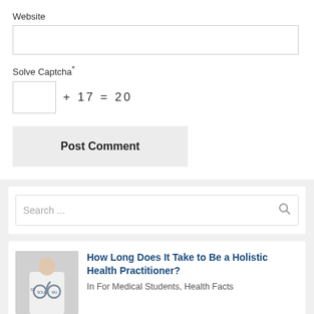Website
Solve Captcha*
Post Comment
Search ...
How Long Does It Take to Be a Holistic Health Practitioner?
In For Medical Students, Health Facts